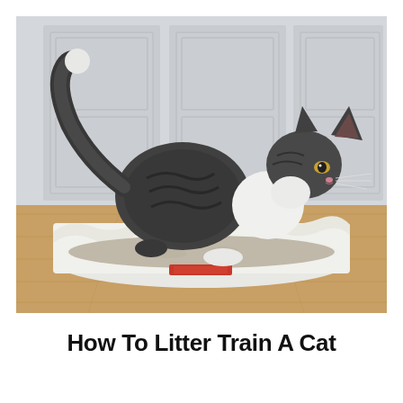[Figure (photo): A long-haired tabby cat with dark gray/black and white fur standing inside a white plastic litter box on a light wood floor, facing right with tail raised, in front of white cabinet doors.]
How To Litter Train A Cat